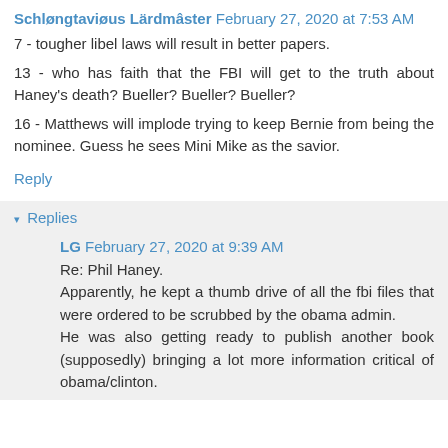Schløngtaviøus Lärdmâster February 27, 2020 at 7:53 AM
7 - tougher libel laws will result in better papers.
13 - who has faith that the FBI will get to the truth about Haney's death? Bueller? Bueller? Bueller?
16 - Matthews will implode trying to keep Bernie from being the nominee. Guess he sees Mini Mike as the savior.
Reply
Replies
LG February 27, 2020 at 9:39 AM
Re: Phil Haney. Apparently, he kept a thumb drive of all the fbi files that were ordered to be scrubbed by the obama admin. He was also getting ready to publish another book (supposedly) bringing a lot more information critical of obama/clinton.